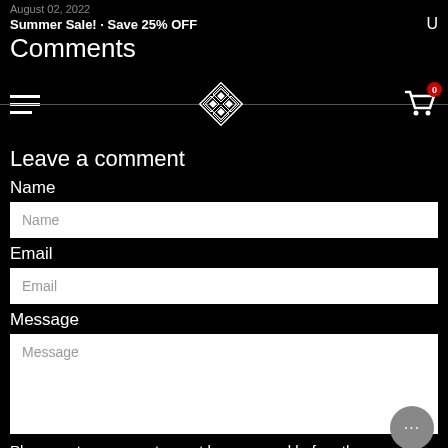August 02, 2022
Summer Sale! · Save 25% OFF   U
Comments
[Figure (screenshot): Navigation bar with hamburger menu icon on left, decorative diamond/knot logo in center, and shopping cart icon with badge '0' on right]
Leave a comment
Name
Name (input placeholder)
Email
Email (input placeholder)
Message
Message (textarea placeholder)
Please note, comments must be approved before they are published